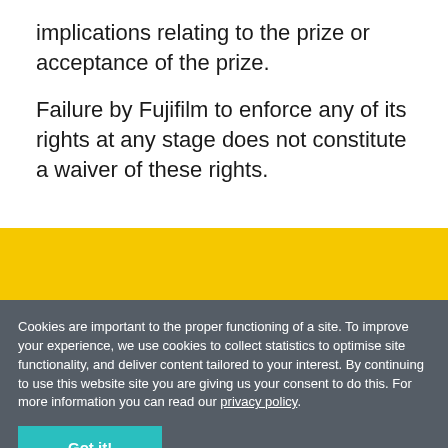implications relating to the prize or acceptance of the prize.
Failure by Fujifilm to enforce any of its rights at any stage does not constitute a waiver of these rights.
[Figure (illustration): Yellow footer banner with Facebook and Instagram social media icons]
Cookies are important to the proper functioning of a site. To improve your experience, we use cookies to collect statistics to optimise site functionality, and deliver content tailored to your interest. By continuing to use this website site you are giving us your consent to do this. For more information you can read our privacy policy.
Got it!